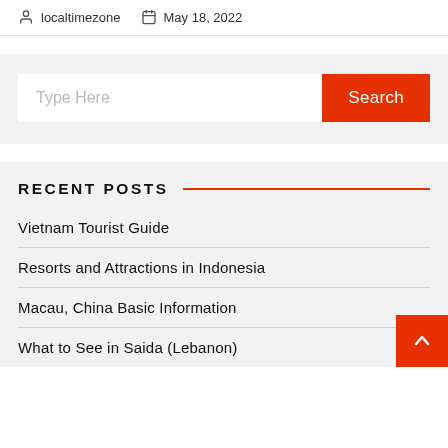localtimezone   May 18, 2022
Type Here
Search
RECENT POSTS
Vietnam Tourist Guide
Resorts and Attractions in Indonesia
Macau, China Basic Information
What to See in Saida (Lebanon)